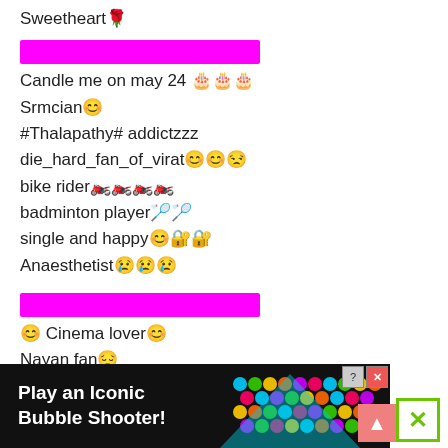Sweetheart🌹
[Figure (other): Magenta/pink highlight bar]
Candle me on may 24 🎂🎂🎂
Srmcian😊
#Thalapathy# addictzzz
die_hard_fan_of_virat😊😊😒
bike rider🏍️🏍️🏍️🏍️
badminton player🏸🏸
single and happy😊🔐🔐
Anaesthetist😢😢😢
[Figure (other): Magenta/pink highlight bar]
😊 Cinema lover😊
Nayan fan😔
Ramrajanfan😁
RS200 bike love😊
🔐Iphone7+😑
Entertainer😊
🔸🔸🔸🔸🔸🔸
🔸🔸🔸🔸🔸🔸
[Figure (screenshot): Ad banner: Play an Iconic Bubble Shooter! with colorful bubbles graphic, close and help icons, plus up arrow and X buttons on right]